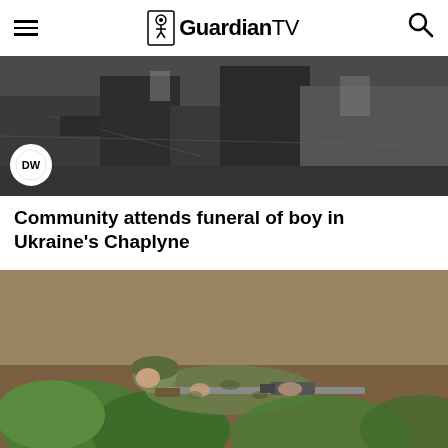GuardianTV
[Figure (photo): Destroyed or damaged structures, possibly a trench or ruins, with a DW (Deutsche Welle) logo badge overlay in the bottom-left corner]
Community attends funeral of boy in Ukraine's Chaplyne
[Figure (photo): A soldier in camouflage uniform and helmet lying prone, aiming a sniper rifle with a scope, surrounded by green foliage and dirt embankment]